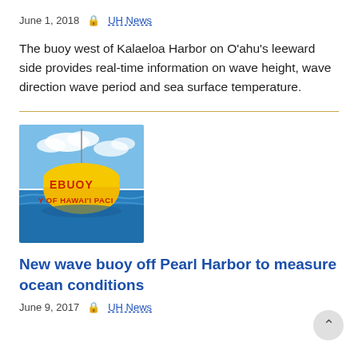June 1, 2018   🔒 UH News
The buoy west of Kalaeloa Harbor on O'ahu's leeward side provides real-time information on wave height, wave direction wave period and sea surface temperature.
[Figure (photo): Yellow wave buoy labeled 'BUOY' and 'UNIVERSITY OF HAWAII PACIFIC' floating on blue ocean water with cloudy sky in background.]
New wave buoy off Pearl Harbor to measure ocean conditions
June 9, 2017   🔒 UH News